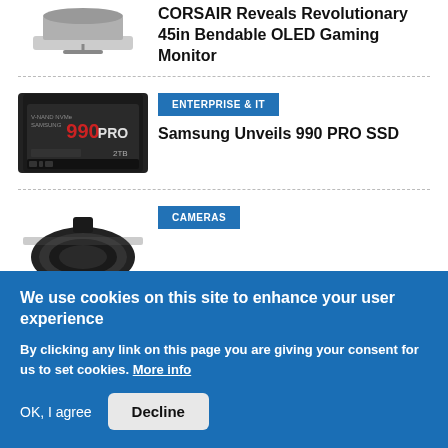[Figure (photo): Partial image of a CORSAIR gaming monitor (top cut off), showing bottom edge of a curved display]
CORSAIR Reveals Revolutionary 45in Bendable OLED Gaming Monitor
[Figure (photo): Samsung 990 PRO M.2 NVMe SSD, 2TB, black PCB with red and white branding]
ENTERPRISE & IT
Samsung Unveils 990 PRO SSD
[Figure (photo): Camera lens, dark colored, partially visible]
CAMERAS
We use cookies on this site to enhance your user experience
By clicking any link on this page you are giving your consent for us to set cookies. More info
OK, I agree
Decline